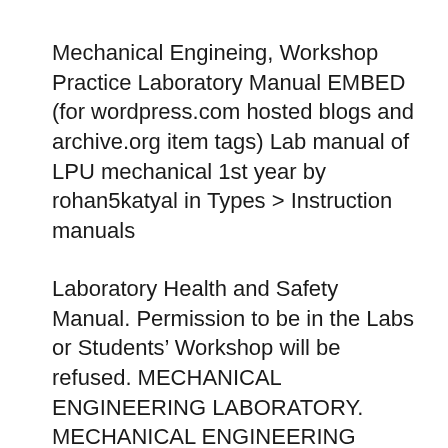Mechanical Engineing, Workshop Practice Laboratory Manual EMBED (for wordpress.com hosted blogs and archive.org item tags) Lab manual of LPU mechanical 1st year by rohan5katyal in Types > Instruction manuals
Laboratory Health and Safety Manual. Permission to be in the Labs or Students' Workshop will be refused. MECHANICAL ENGINEERING LABORATORY. MECHANICAL ENGINEERING ENGINEERING WORKSHOP LAB 4 Dove Tail Joint FITTING 5 Vee-Fit 6 Square Fit 7 Dove Tail Fit 8 Half Round Fit TINSMITHY 9 …